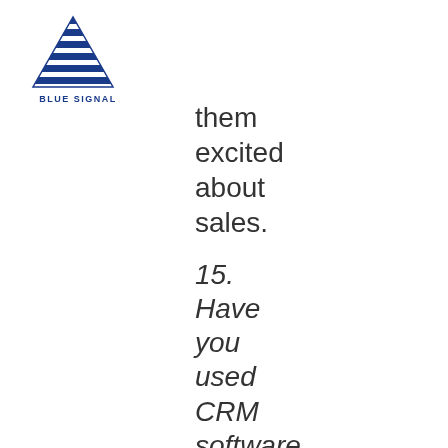[Figure (logo): Blue Signal logo with triangular striped graphic above the text BLUE SIGNAL]
them excited about sales.
15. Have you used CRM software before? If so